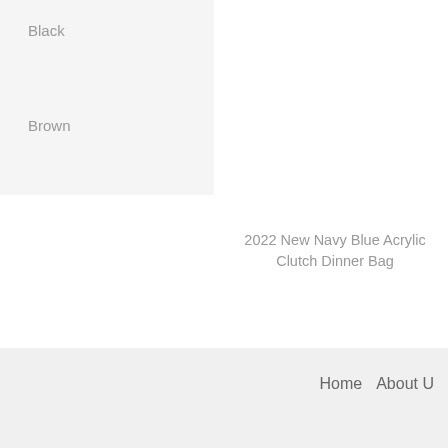Black
Brown
2022 New Navy Blue Acrylic Clutch Dinner Bag
Home   About U